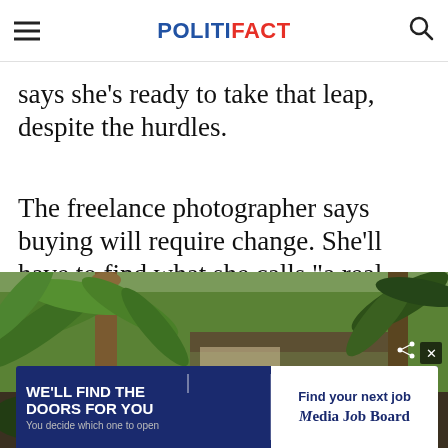POLITIFACT
says she's ready to take that leap, despite the hurdles.
The freelance photographer says buying will require change. She'll have to find what she calls "a real job" that pays more consistently.
[Figure (photo): Outdoor photo showing palm trees and a house or building in the background, with a person partially visible at the bottom right]
WE'LL FIND THE DOORS FOR YOU You decide which one to open
Find your next job Media Job Board